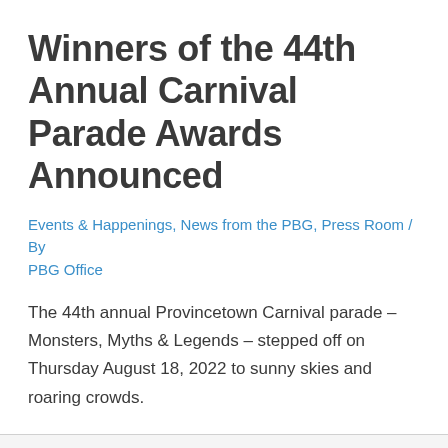Winners of the 44th Annual Carnival Parade Awards Announced
Events & Happenings, News from the PBG, Press Room / By PBG Office
The 44th annual Provincetown Carnival parade – Monsters, Myths & Legends – stepped off on Thursday August 18, 2022 to sunny skies and roaring crowds.